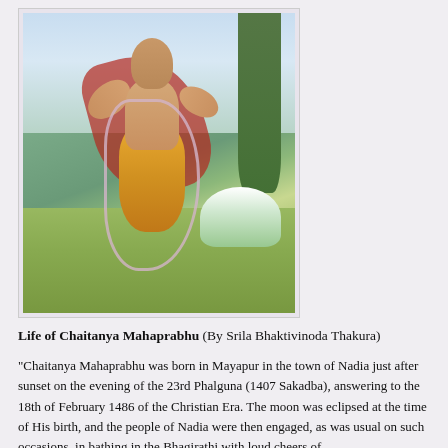[Figure (illustration): Painting of Chaitanya Mahaprabhu in an ecstatic pose, arms outstretched, wearing a saffron dhoti and red shawl with a long flower garland, set against a natural outdoor background with trees and grass.]
Life of Chaitanya Mahaprabhu (By Srila Bhaktivinoda Thakura)
“Chaitanya Mahaprabhu was born in Mayapur in the town of Nadia just after sunset on the evening of the 23rd Phalguna (1407 Sakadba), answering to the 18th of February 1486 of the Christian Era. The moon was eclipsed at the time of His birth, and the people of Nadia were then engaged, as was usual on such occasions, in bathing in the Bhagirathi with loud cheers of